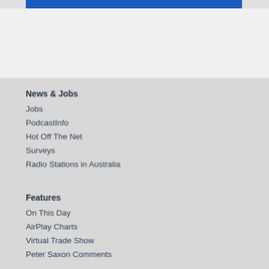News & Jobs
Jobs
PodcastInfo
Hot Off The Net
Surveys
Radio Stations in Australia
Features
On This Day
AirPlay Charts
Virtual Trade Show
Peter Saxon Comments